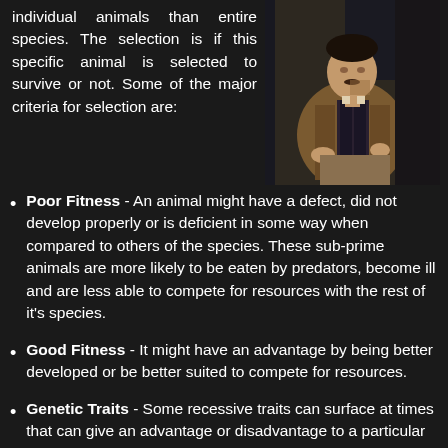individual animals than entire species. The selection is if this specific animal is selected to survive or not. Some of the major criteria for selection are:
[Figure (illustration): Portrait painting of a seated man in a brown coat and dark vest, holding something in his hand, painted in an impressionist style]
Poor Fitness - An animal might have a defect, did not develop properly or is deficient in some way when compared to others of the species. These sub-prime animals are more likely to be eaten by predators, become ill and are less able to compete for resources with the rest of it's species.
Good Fitness - It might have an advantage by being better developed or be better suited to compete for resources.
Genetic Traits - Some recessive traits can surface at times that can give an advantage or disadvantage to a particular animal.